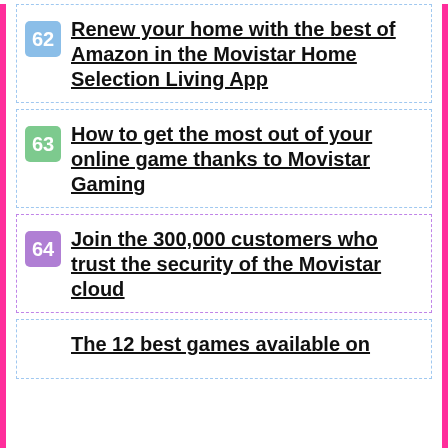62 Renew your home with the best of Amazon in the Movistar Home Selection Living App
63 How to get the most out of your online game thanks to Movistar Gaming
64 Join the 300,000 customers who trust the security of the Movistar cloud
65 The 12 best games available on